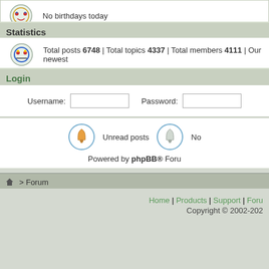No birthdays today
Statistics
Total posts 6748 | Total topics 4337 | Total members 4111 | Our newest
Login
Username: [input] Password: [input]
Unread posts   No
Powered by phpBB® Foru
Home > Forum
Home | Products | Support | Foru
Copyright © 2002-202